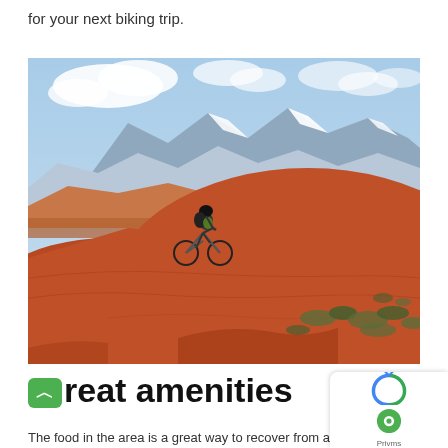for your next biking trip.
[Figure (photo): Mountain biker riding down red rock slickrock terrain in desert landscape with snow-capped mountains in background, blue sky with clouds, desert scrub vegetation]
Great amenities
The food in the area is a great way to recover from a long...